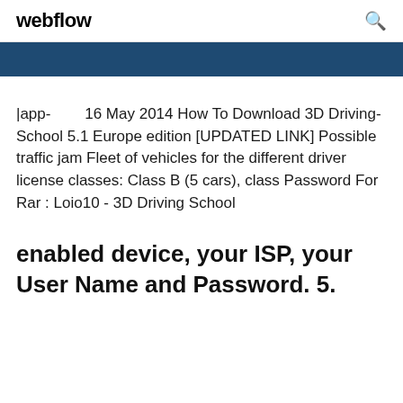webflow
|app-        16 May 2014 How To Download 3D Driving-School 5.1 Europe edition [UPDATED LINK] Possible traffic jam Fleet of vehicles for the different driver license classes: Class B (5 cars), class Password For Rar : Loio10 - 3D Driving School
enabled device, your ISP, your User Name and Password. 5.